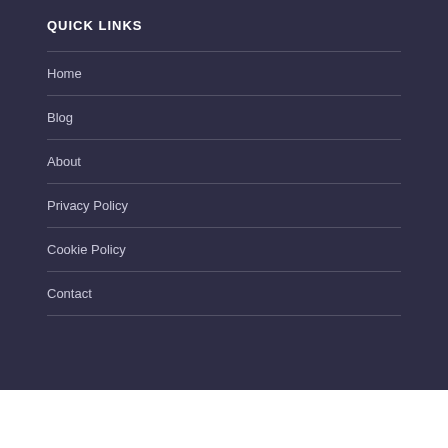QUICK LINKS
Home
Blog
About
Privacy Policy
Cookie Policy
Contact